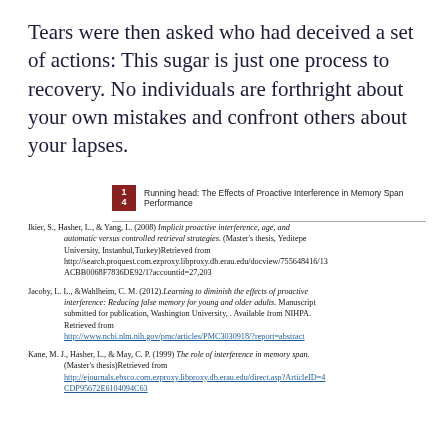Tears were then asked who had deceived a set of actions: This sugar is just one process to recovery. No individuals are forthright about your own mistakes and confront others about your lapses.
14  Running head: The Effects of Proactive Interference in Memory Span Performance
Ikier, S., Hasher, L., & Yang, L. (2008). Implicit proactive interference, age, and automatic versus controlled retrieval strategies. (Master's thesis, Yeditepe University, Instanbul, Turkey) Retrieved from http://search.proquest.com.ezproxy.libproxy.db.erau.edu/docview/755648416/13ACBB0068F7836DE92/1?accountid=27203
Jacoby, L. L., & Wahlheim, C. M. (2012). Learning to diminish the effects of proactive interference: Reducing false memory for young and older adults. Manuscript submitted for publication, Washington University, . Available from NIHPA. Retrieved from http://www.ncbi.nlm.nih.gov/pmc/articles/PMC3030918/?report=abstract
Kane, M. J., Hasher, L., & May, C. P. (1999). The role of interference in memory span. (Master's thesis) Retrieved from http://ejournals.ebsco.com.ezproxy.libproxy.db.erau.edu/direct.asp?ArticleID=4CDP95672E6104094C63